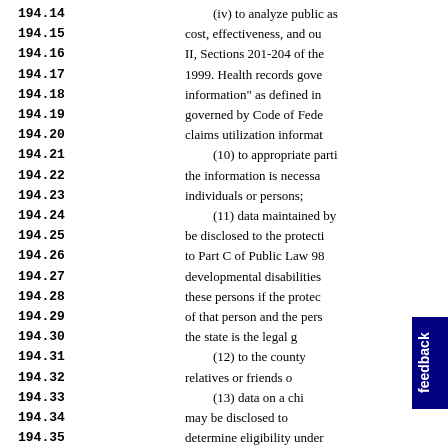194.14
194.15
194.16
194.17
194.18
194.19
194.20
194.21
194.22
194.23
194.24
194.25
194.26
194.27
194.28
194.29
194.30
194.31
194.32
194.33
194.34
194.35
195.1
(iv) to analyze public as cost, effectiveness, and ou II, Sections 201-204 of the 1999. Health records gove information" as defined in governed by Code of Fede claims utilization informat (10) to appropriate parti the information is necessa individuals or persons; (11) data maintained by be disclosed to the protecti to Part C of Public Law 98 developmental disabilities these persons if the protec of that person and the pers the state is the legal g (12) to the county relatives or friends o (13) data on a chi may be disclosed to determine eligibility under (14) participant Social S